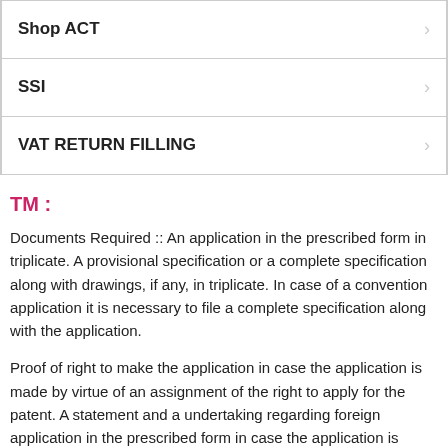| Shop ACT |
| SSI |
| VAT RETURN FILLING |
TM :
Documents Required :: An application in the prescribed form in triplicate. A provisional specification or a complete specification along with drawings, if any, in triplicate. In case of a convention application it is necessary to file a complete specification along with the application.
Proof of right to make the application in case the application is made by virtue of an assignment of the right to apply for the patent. A statement and a undertaking regarding foreign application in the prescribed form in case the application is made by persons other than resident in India and not being an assignee or legal representative of a